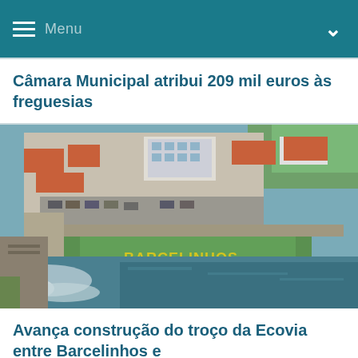Menu
Câmara Municipal atribui 209 mil euros às freguesias
[Figure (photo): Aerial drone photo of Barcelinhos town showing a riverside waterfront area with a green garden featuring the 'BARCELINHOS' sign in large yellow letters, municipal buildings, roads with parked cars, red-roofed houses, and a river with white water/rapids in the foreground.]
Avança construção do troço da Ecovia entre Barcelinhos e